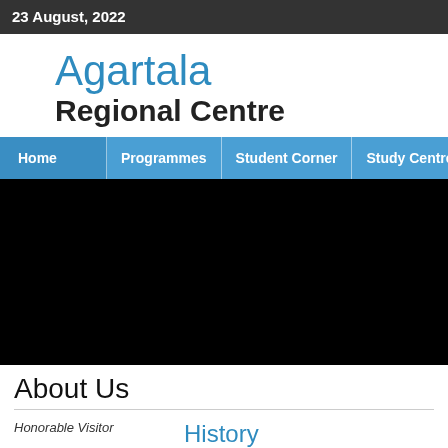23 August, 2022
Agartala Regional Centre
Home  Programmes  Student Corner  Study Centres
[Figure (photo): Black video/image area below navigation bar]
About Us
Honorable Visitor
History